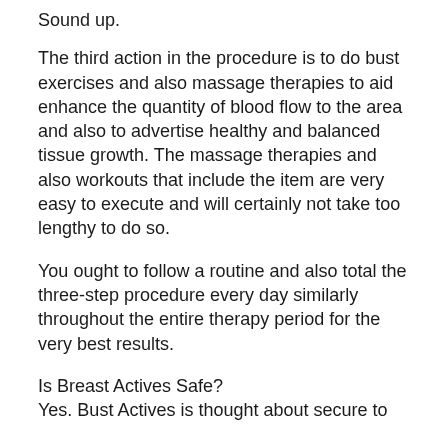Sound up.
The third action in the procedure is to do bust exercises and also massage therapies to aid enhance the quantity of blood flow to the area and also to advertise healthy and balanced tissue growth. The massage therapies and also workouts that include the item are very easy to execute and will certainly not take too lengthy to do so.
You ought to follow a routine and also total the three-step procedure every day similarly throughout the entire therapy period for the very best results.
Is Breast Actives Safe?
Yes. Bust Actives is thought about secure to